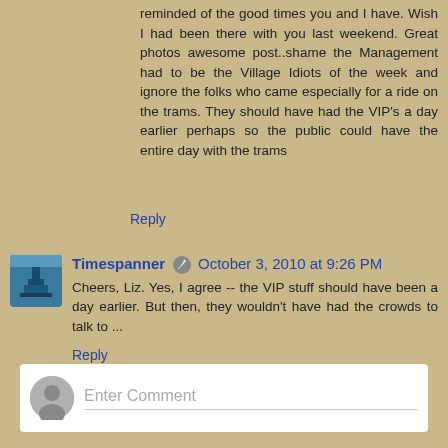reminded of the good times you and I have. Wish I had been there with you last weekend. Great photos awesome post..shame the Management had to be the Village Idiots of the week and ignore the folks who came especially for a ride on the trams. They should have had the VIP's a day earlier perhaps so the public could have the entire day with the trams
Reply
Timespanner ✏ October 3, 2010 at 9:26 PM
Cheers, Liz. Yes, I agree -- the VIP stuff should have been a day earlier. But then, they wouldn't have had the crowds to talk to ...
Reply
Enter Comment